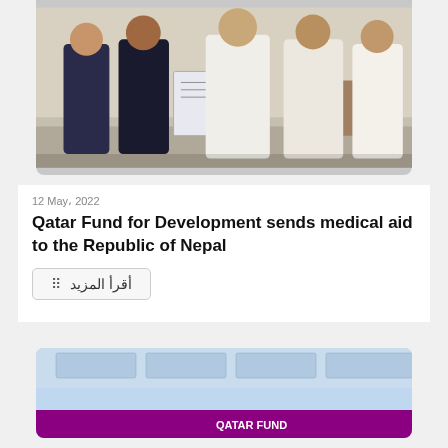[Figure (photo): Group photo of officials: a woman in dark blazer and two men in dark suits on the left, holding a document, with two men in white thobes on the right, indoors.]
12 May، 2022
Qatar Fund for Development sends medical aid to the Republic of Nepal
أقرأ المزيد
[Figure (photo): Interior photo of a Qatar Fund office or meeting room with blue and purple branding elements, ceiling lights, and a Qatar Fund sign/banner visible.]